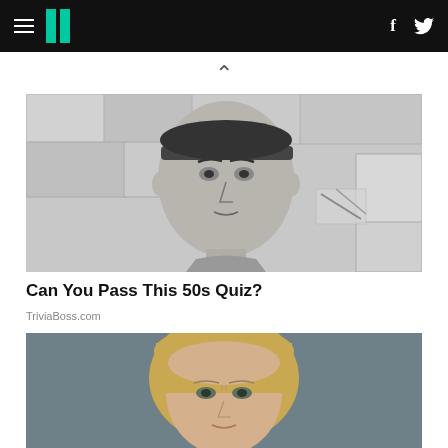HuffPost navigation bar with hamburger menu, logo, Facebook and Twitter icons
[Figure (photo): Black and white photo of a man with a headband against a stone wall background]
Can You Pass This 50s Quiz?
TriviaBoss.com
[Figure (photo): Color photo of a blonde woman against a gray background, cropped to show face and upper shoulders]